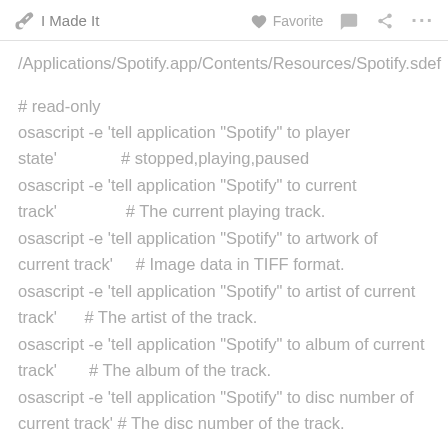✋ I Made It   ♥ Favorite   💬   ⋮⋮⋮
/Applications/Spotify.app/Contents/Resources/Spotify.sdef
# read-only
osascript -e 'tell application "Spotify" to player state'                # stopped,playing,paused
osascript -e 'tell application "Spotify" to current track'                # The current playing track.
osascript -e 'tell application "Spotify" to artwork of current track'      # Image data in TIFF format.
osascript -e 'tell application "Spotify" to artist of current track'       # The artist of the track.
osascript -e 'tell application "Spotify" to album of current track'        # The album of the track.
osascript -e 'tell application "Spotify" to disc number of current track'  # The disc number of the track.